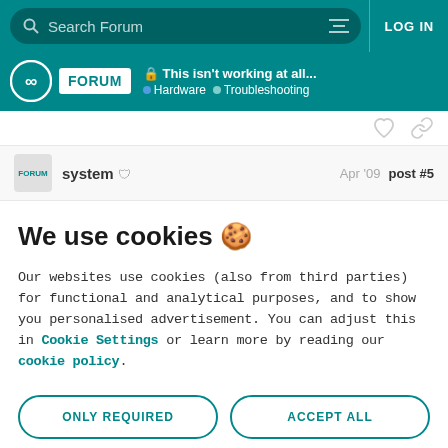Search Forum | LOG IN
FORUM | This isn't working at all... | Hardware | Troubleshooting
system  Apr '09  post #5
We use cookies 🍪
Our websites use cookies (also from third parties) for functional and analytical purposes, and to show you personalised advertisement. You can adjust this in Cookie Settings or learn more by reading our cookie policy.
ONLY REQUIRED
ACCEPT ALL